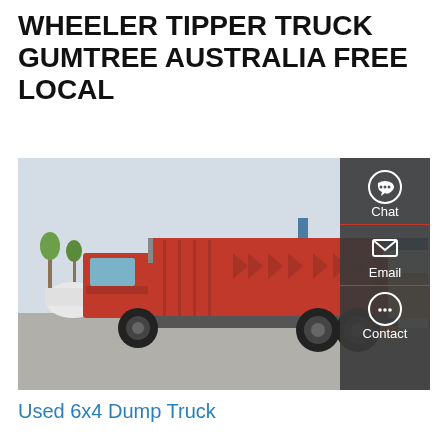WHEELER TIPPER TRUCK GUMTREE AUSTRALIA FREE LOCAL
[Figure (photo): Red 6x4 tipper/dump truck parked outdoors, rear-side view, with a person walking in background and warehouse buildings. Overlaid with a dark sidebar showing Chat, Email, and Contact icons.]
Used 6x4 Dump Truck